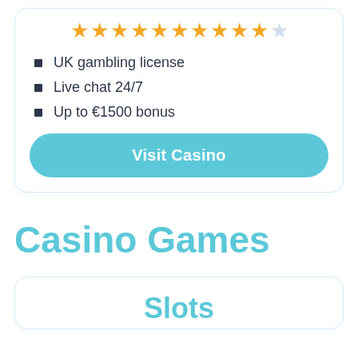[Figure (other): Star rating row showing 10 filled golden stars and 1 empty/gray star]
UK gambling license
Live chat 24/7
Up to €1500 bonus
Visit Casino
Casino Games
Slots